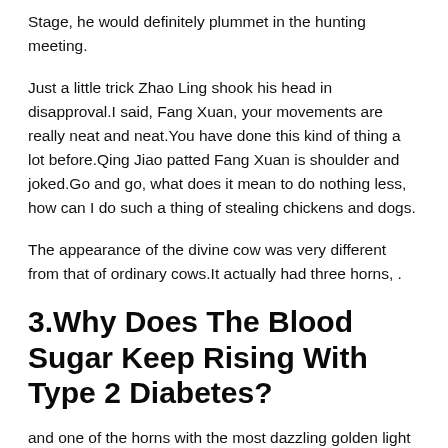Stage, he would definitely plummet in the hunting meeting.
Just a little trick Zhao Ling shook his head in disapproval.I said, Fang Xuan, your movements are really neat and neat.You have done this kind of thing a lot before.Qing Jiao patted Fang Xuan is shoulder and joked.Go and go, what does it mean to do nothing less, how can I do such a thing of stealing chickens and dogs.
The appearance of the divine cow was very different from that of ordinary cows.It actually had three horns, .
3.Why Does The Blood Sugar Keep Rising With Type 2 Diabetes?
and one of the horns with the most dazzling golden light was in the center.